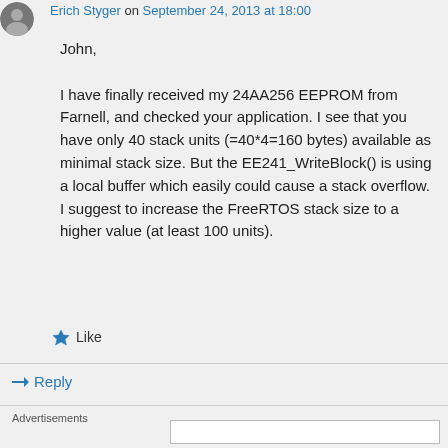Erich Styger on September 24, 2013 at 18:00
John,

I have finally received my 24AA256 EEPROM from Farnell, and checked your application. I see that you have only 40 stack units (=40*4=160 bytes) available as minimal stack size. But the EE241_WriteBlock() is using a local buffer which easily could cause a stack overflow. I suggest to increase the FreeRTOS stack size to a higher value (at least 100 units).
Like
Reply
Advertisements